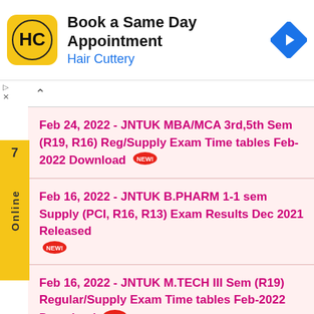[Figure (infographic): Hair Cuttery advertisement banner with logo, 'Book a Same Day Appointment' text, and navigation icon]
Feb 24, 2022 - JNTUK MBA/MCA 3rd,5th Sem (R19, R16) Reg/Supply Exam Time tables Feb-2022 Download
Feb 16, 2022 - JNTUK B.PHARM 1-1 sem Supply (PCI, R16, R13) Exam Results Dec 2021 Released
Feb 16, 2022 - JNTUK M.TECH III Sem (R19) Regular/Supply Exam Time tables Feb-2022 Download
Feb 11, 2022 - JNTUK MTECH 3rd Sem 2nd Mid